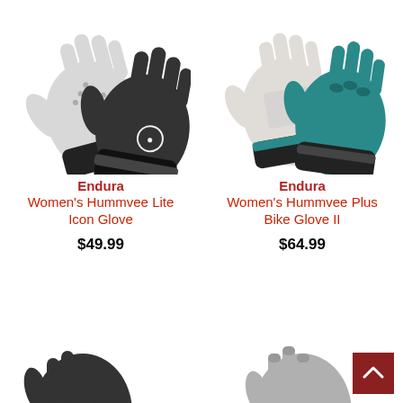[Figure (photo): Endura Women's Hummvee Lite Icon Glove - black cycling glove showing palm and back views]
Endura
Women's Hummvee Lite Icon Glove
$49.99
[Figure (photo): Endura Women's Hummvee Plus Bike Glove II - teal/black cycling glove showing palm and back views]
Endura
Women's Hummvee Plus Bike Glove II
$64.99
[Figure (photo): Bottom partial view of a black cycling glove]
[Figure (photo): Bottom partial view of a grey/silver cycling glove]